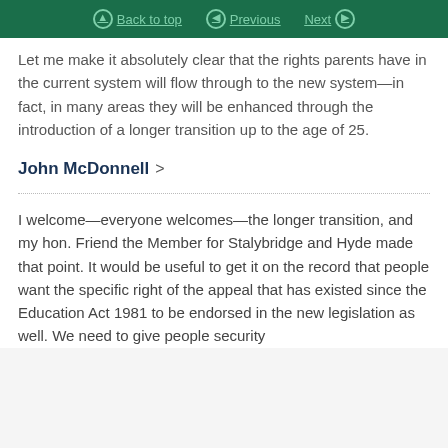Back to top | Previous | Next
Let me make it absolutely clear that the rights parents have in the current system will flow through to the new system—in fact, in many areas they will be enhanced through the introduction of a longer transition up to the age of 25.
John McDonnell >
I welcome—everyone welcomes—the longer transition, and my hon. Friend the Member for Stalybridge and Hyde made that point. It would be useful to get it on the record that people want the specific right of the appeal that has existed since the Education Act 1981 to be endorsed in the new legislation as well. We need to give people security